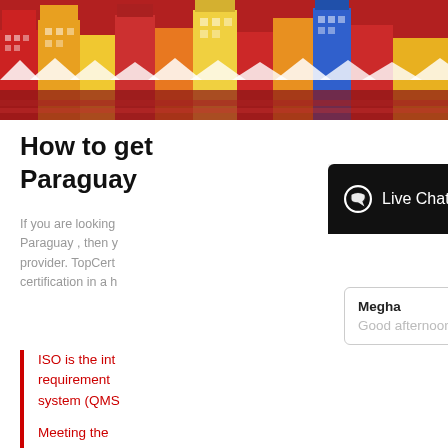[Figure (photo): Colorful row of buildings with reflections, vibrant reds, yellows, and blues in a festive market scene]
How to get 
Paraguay
If you are looking
Paraguay , then y
provider. TopCert
certification in a h
ISO is the int
requirement
system (QMS
Meeting the
provide quali
be of real be
[Figure (screenshot): Live Chat widget overlay showing 'Welcome to Top Certifier', agent name Megha, placeholder 'Good afternoon', text input 'Click here to chat', and Send button]